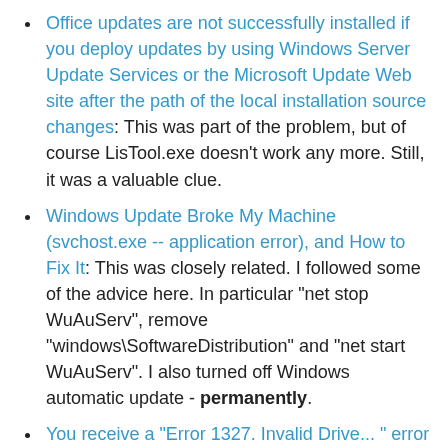Office updates are not successfully installed if you deploy updates by using Windows Server Update Services or the Microsoft Update Web site after the path of the local installation source changes: This was part of the problem, but of course LisTool.exe doesn't work any more. Still, it was a valuable clue.
Windows Update Broke My Machine (svchost.exe -- application error), and How to Fix It: This was closely related. I followed some of the advice here. In particular "net stop WuAuServ", remove "windows\SoftwareDistribution" and "net start WuAuServ". I also turned off Windows automatic update - permanently.
You receive a "Error 1327. Invalid Drive... " error message when you install Office 2003: This generally useless article was critical because of this one sentence: "Before you try to install Office 2003, check to see if the MSOCache folder exists. If it exists, you must move it to the location